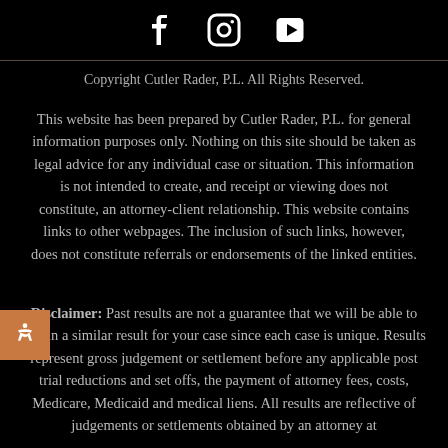[Figure (other): Social media icons: Facebook, Instagram, YouTube on black background]
Copyright Cutler Rader, P.L. All Rights Reserved.
This website has been prepared by Cutler Rader, P.L. for general information purposes only. Nothing on this site should be taken as legal advice for any individual case or situation. This information is not intended to create, and receipt or viewing does not constitute, an attorney-client relationship. This website contains links to other webpages. The inclusion of such links, however, does not constitute referrals or endorsements of the linked entities.
Disclaimer: Past results are not a guarantee that we will be able to obtain a similar result for your case since each case is unique. Results represent gross judgement or settlement before any applicable post trial reductions and set offs, the payment of attorney fees, costs, Medicare, Medicaid and medical liens. All results are reflective of judgements or settlements obtained by an attorney at